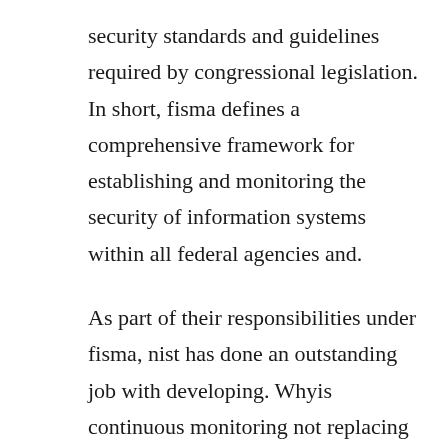security standards and guidelines required by congressional legislation. In short, fisma defines a comprehensive framework for establishing and monitoring the security of information systems within all federal agencies and.
As part of their responsibilities under fisma, nist has done an outstanding job with developing. Whyis continuous monitoring not replacing the traditional security authorizationprocess. Meeting the audit and accountability au requirements of fisma. It